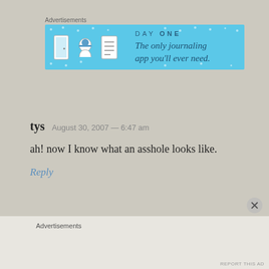[Figure (other): Day One journaling app advertisement banner with blue background, app icons, and tagline 'The only journaling app you'll ever need.']
tys  August 30, 2007 — 6:47 am
ah! now I know what an asshole looks like.
Reply
Advertisements